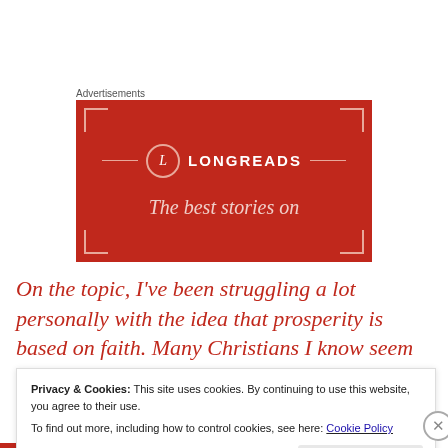Advertisements
[Figure (logo): Longreads advertisement banner with red background, circular L logo, LONGREADS wordmark, and tagline 'The best stories on']
On the topic, I've been struggling a lot personally with the idea that prosperity is based on faith. Many Christians I know seem to think that the things they have, from health
Privacy & Cookies: This site uses cookies. By continuing to use this website, you agree to their use.
To find out more, including how to control cookies, see here: Cookie Policy
Close and accept